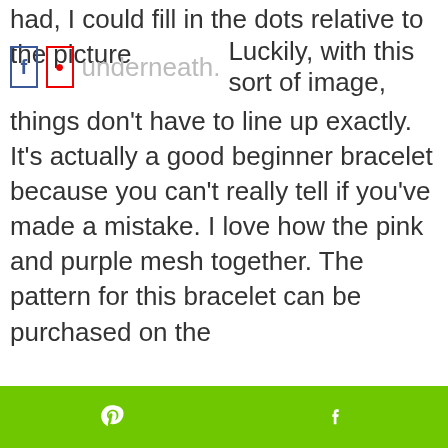had, I could fill in the dots relative to the picture underneath.  Luckily, with this sort of image, things don't have to line up exactly.  It's actually a good beginner bracelet because you can't really tell if you've made a mistake.  I love how the pink and purple mesh together.  The pattern for this bracelet can be purchased on the Patterns and ...
[Figure (screenshot): Social share buttons: Facebook (f) and Pinterest (p) icons]
My free brace... Bead Vault. ... banner that s...
We use cookies on our website to give you the most relevant experience by remembering your preferences and repeat visits. By clicking "Accept", you consent to the use of ALL the cookies.
Cookie settings  ACCEPT
[Figure (screenshot): Bottom bar with green Pinterest and Facebook share buttons]